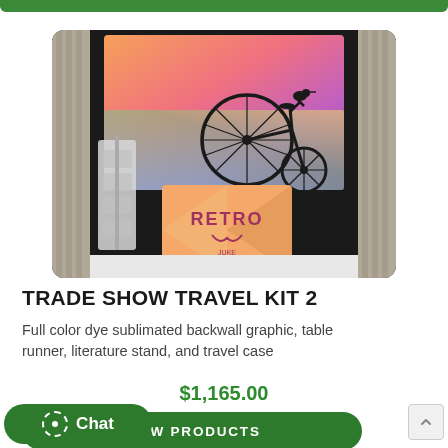[Figure (photo): Trade show booth with colorful dye sublimated backwall graphic featuring a retro penny-farthing bicycle on an orange/pink/purple geometric background, a table with a 'RETRO' branded cover, a literature stand on the left, and gray curtains on both sides.]
TRADE SHOW TRAVEL KIT 2
Full color dye sublimated backwall graphic, table runner, literature stand, and travel case
$1,165.00
VIEW PRODUCTS
Chat